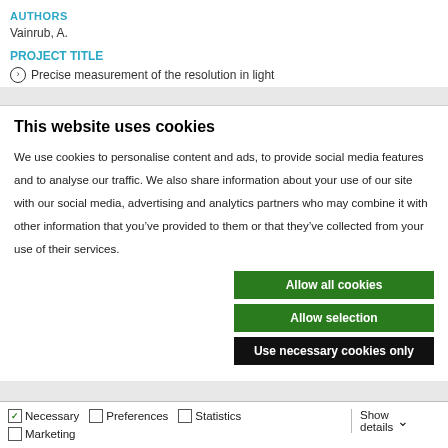AUTHORS
Vainrub, A.
PROJECT TITLE
> Precise measurement of the resolution in light
This website uses cookies
We use cookies to personalise content and ads, to provide social media features and to analyse our traffic. We also share information about your use of our site with our social media, advertising and analytics partners who may combine it with other information that you've provided to them or that they've collected from your use of their services.
Allow all cookies
Allow selection
Use necessary cookies only
Necessary  Preferences  Statistics  Marketing  Show details